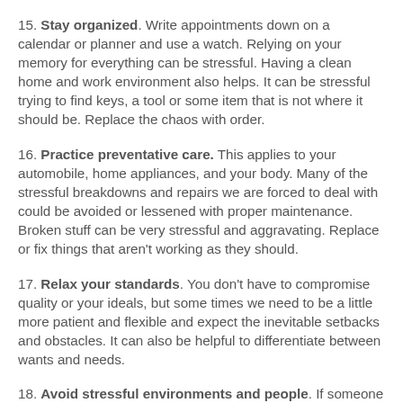15. Stay organized. Write appointments down on a calendar or planner and use a watch. Relying on your memory for everything can be stressful. Having a clean home and work environment also helps. It can be stressful trying to find keys, a tool or some item that is not where it should be. Replace the chaos with order.
16. Practice preventative care. This applies to your automobile, home appliances, and your body. Many of the stressful breakdowns and repairs we are forced to deal with could be avoided or lessened with proper maintenance. Broken stuff can be very stressful and aggravating. Replace or fix things that aren't working as they should.
17. Relax your standards. You don't have to compromise quality or your ideals, but some times we need to be a little more patient and flexible and expect the inevitable setbacks and obstacles. It can also be helpful to differentiate between wants and needs.
18. Avoid stressful environments and people. If someone stresses you out, try not to be around them as much. Avoid